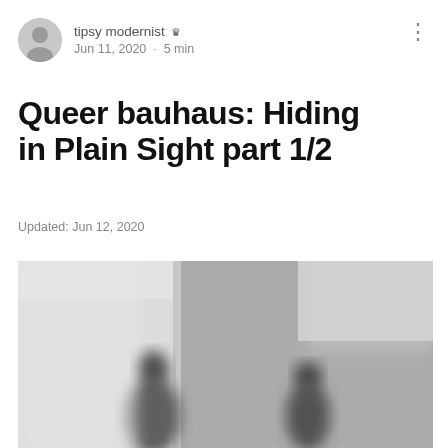tipsy modernist ♛  Jun 11, 2020 · 5 min
Queer bauhaus: Hiding in Plain Sight part 1/2
Updated: Jun 12, 2020
[Figure (photo): Blurred black and white photograph showing two or more figures in an interior architectural space with clean modernist lines and a corner wall.]